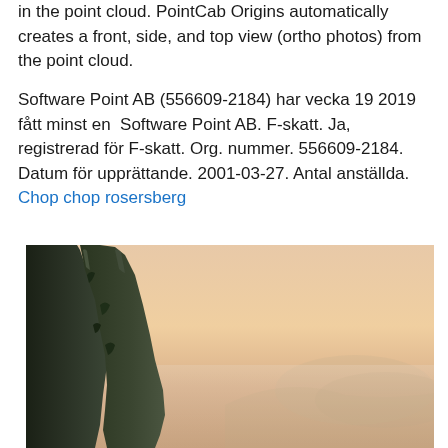in the point cloud. PointCab Origins automatically creates a front, side, and top view (ortho photos) from the point cloud.
Software Point AB (556609-2184) har vecka 19 2019 fått minst en  Software Point AB. F-skatt. Ja, registrerad för F-skatt. Org. nummer. 556609-2184. Datum för upprättande. 2001-03-27. Antal anställda. Chop chop rosersberg
[Figure (photo): A landscape photo showing dramatic rocky mountain cliffs on the left side with a warm peachy-orange sky and hazy mountain ridges in the background, reminiscent of Yosemite Valley.]